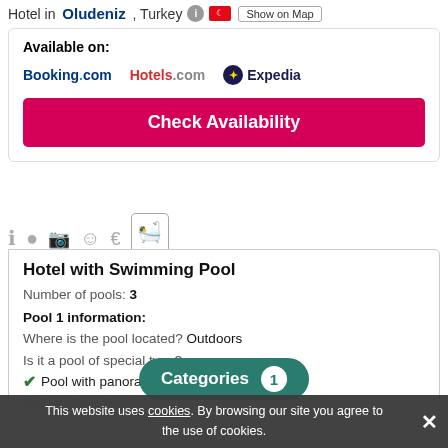Hotel in Oludeniz , Turkey [info icon] [flag] Show on Map
Available on:
Booking.com   Hotels.com   Expedia
Check Availability
[Figure (other): Tab icons row: info, location, camera, smiley, euro, swimming (active)]
Hotel with Swimming Pool
Number of pools: 3
Pool 1 information:
Where is the pool located? Outdoors
Is it a pool of special type?
✓ Pool with panoramic view
Pool surface size...
Categories 1
This website uses cookies. By browsing our site you agree to the use of cookies.